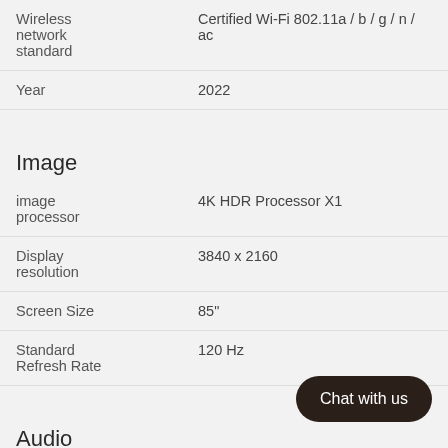| Attribute | Value |
| --- | --- |
| Wireless network standard | Certified Wi-Fi 802.11a / b / g / n / ac |
| Year | 2022 |
Image
| Attribute | Value |
| --- | --- |
| image processor | 4K HDR Processor X1 |
| Display resolution | 3840 x 2160 |
| Screen Size | 85" |
| Standard Refresh Rate | 120 Hz |
Audio
| Attribute | Value |
| --- | --- |
| Output Power | 10 W + 10 W |